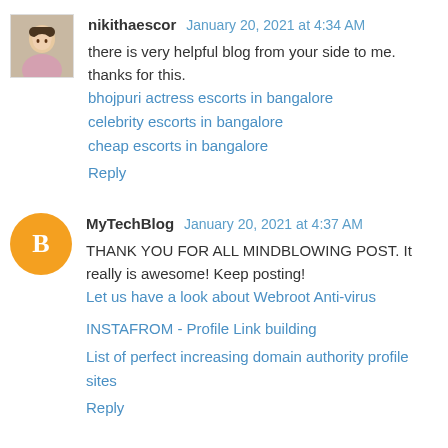[Figure (photo): Small profile photo of nikithaescor — a woman's photo]
nikithaescor  January 20, 2021 at 4:34 AM
there is very helpful blog from your side to me. thanks for this.
bhojpuri actress escorts in bangalore
celebrity escorts in bangalore
cheap escorts in bangalore
Reply
[Figure (logo): Orange circle Blogger icon with letter B]
MyTechBlog  January 20, 2021 at 4:37 AM
THANK YOU FOR ALL MINDBLOWING POST. It really is awesome! Keep posting!
Let us have a look about Webroot Anti-virus
INSTAFROM - Profile Link building
List of perfect increasing domain authority profile sites
Reply